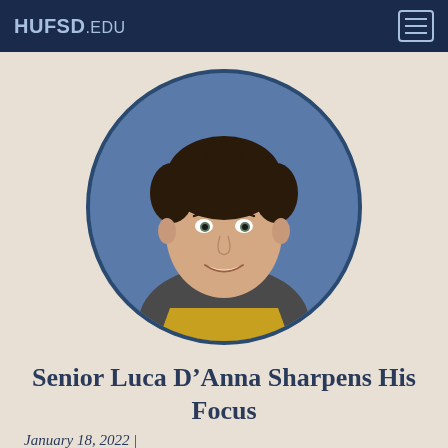HUFSD.EDU
[Figure (photo): Circular framed school portrait photo of a young man with curly dark hair, smiling, wearing a dark gray t-shirt with a gold/yellow design, against a blue background.]
Senior Luca D’Anna Sharpens His Focus
January 18, 2022 |